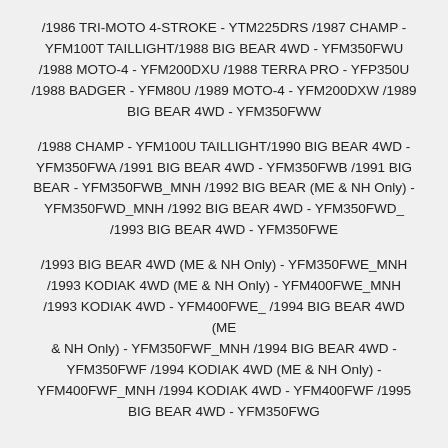/1986 TRI-MOTO 4-STROKE - YTM225DRS /1987 CHAMP - YFM100T TAILLIGHT/1988 BIG BEAR 4WD - YFM350FWU /1988 MOTO-4 - YFM200DXU /1988 TERRA PRO - YFP350U /1988 BADGER - YFM80U /1989 MOTO-4 - YFM200DXW /1989 BIG BEAR 4WD - YFM350FWW
/1988 CHAMP - YFM100U TAILLIGHT/1990 BIG BEAR 4WD - YFM350FWA /1991 BIG BEAR 4WD - YFM350FWB /1991 BIG BEAR - YFM350FWB_MNH /1992 BIG BEAR (ME & NH Only) - YFM350FWD_MNH /1992 BIG BEAR 4WD - YFM350FWD_ /1993 BIG BEAR 4WD - YFM350FWE
/1993 BIG BEAR 4WD (ME & NH Only) - YFM350FWE_MNH /1993 KODIAK 4WD (ME & NH Only) - YFM400FWE_MNH /1993 KODIAK 4WD - YFM400FWE_ /1994 BIG BEAR 4WD (ME & NH Only) - YFM350FWF_MNH /1994 BIG BEAR 4WD - YFM350FWF /1994 KODIAK 4WD (ME & NH Only) - YFM400FWF_MNH /1994 KODIAK 4WD - YFM400FWF /1995 BIG BEAR 4WD - YFM350FWG
CONDITION: NEW OLD STOCK